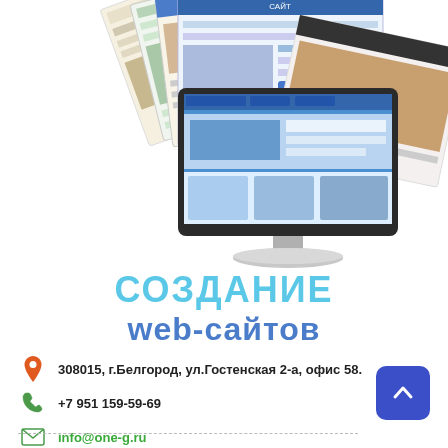[Figure (illustration): Collage of website screenshots fanned out behind an iMac computer displaying a website. The iMac is centered in the lower portion of the image area. Multiple colorful webpage screenshots are spread out above and around the monitor.]
СОЗДАНИЕ web-сайтов
308015, г.Белгород, ул.Гостенская 2-а, офис 58.
+7 951 159-59-69
info@one-g.ru
http://one-g.ru